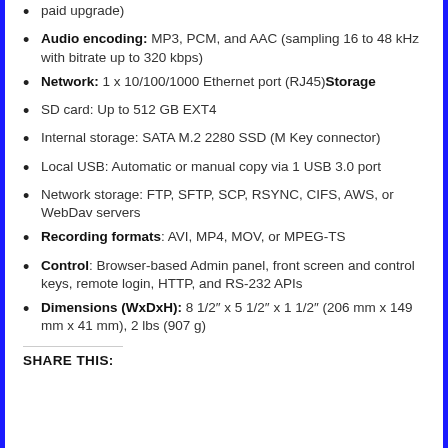paid upgrade)
Audio encoding: MP3, PCM, and AAC (sampling 16 to 48 kHz with bitrate up to 320 kbps)
Network: 1 x 10/100/1000 Ethernet port (RJ45)Storage
SD card: Up to 512 GB EXT4
Internal storage: SATA M.2 2280 SSD (M Key connector)
Local USB: Automatic or manual copy via 1 USB 3.0 port
Network storage: FTP, SFTP, SCP, RSYNC, CIFS, AWS, or WebDav servers
Recording formats: AVI, MP4, MOV, or MPEG-TS
Control: Browser-based Admin panel, front screen and control keys, remote login, HTTP, and RS-232 APIs
Dimensions (WxDxH): 8 1/2" x 5 1/2" x 1 1/2" (206 mm x 149 mm x 41 mm), 2 lbs (907 g)
SHARE THIS: